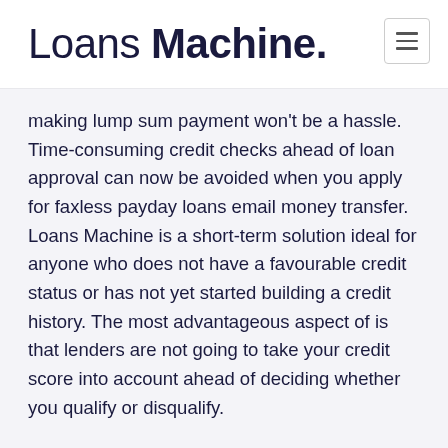Loans Machine.
making lump sum payment won't be a hassle. Time-consuming credit checks ahead of loan approval can now be avoided when you apply for faxless payday loans email money transfer. Loans Machine is a short-term solution ideal for anyone who does not have a favourable credit status or has not yet started building a credit history. The most advantageous aspect of is that lenders are not going to take your credit score into account ahead of deciding whether you qualify or disqualify.
If you are going through financial problem and require quick cash to deal with some unexpected and unpleasant events, it is wise to consider faxless